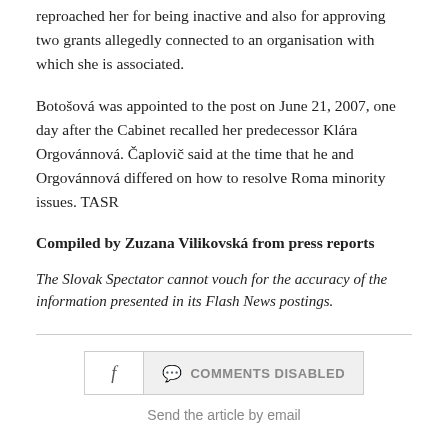reproached her for being inactive and also for approving two grants allegedly connected to an organisation with which she is associated.
Botošová was appointed to the post on June 21, 2007, one day after the Cabinet recalled her predecessor Klára Orgovánnová. Čaplovič said at the time that he and Orgovánnová differed on how to resolve Roma minority issues. TASR
Compiled by Zuzana Vilikovská from press reports
The Slovak Spectator cannot vouch for the accuracy of the information presented in its Flash News postings.
Send the article by email